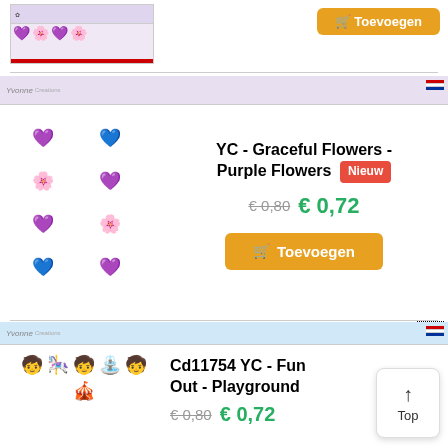[Figure (photo): Partially visible product image of purple flowers craft sheet at top of page]
[Figure (photo): YC Graceful Flowers Purple Flowers 3D craft sheet showing multiple purple and blue flower bouquets arranged in a grid]
YC - Graceful Flowers - Purple Flowers Nieuw
€ 0,80 € 0,72
Toevoegen
[Figure (photo): Cd11754 YC Fun Out - Playground craft sheet showing children playing on playground equipment]
Cd11754 YC - Fun Out - Playground
€ 0,80 € 0,72